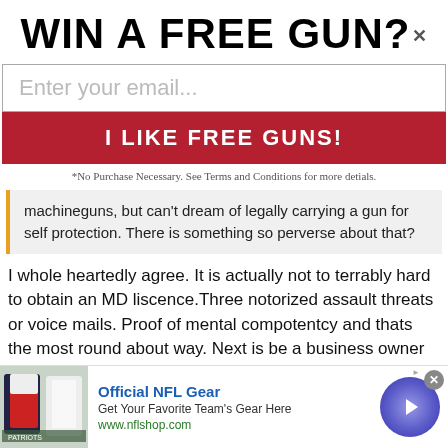WIN A FREE GUN?
Enter your email...
I LIKE FREE GUNS!
*No Purchase Necessary. See Terms and Conditions for more detials.
machineguns, but can't dream of legally carrying a gun for self protection. There is something so perverse about that?
I whole heartedly agree. It is actually not to terrably hard to obtain an MD liscence.Three notorized assault threats or voice mails. Proof of mental compotentcy and thats the most round about way. Next is be a business owner who travels with cash, Most women can easily attain one with a history of violence to
[Figure (infographic): Advertisement banner: Official NFL Gear - Get Your Favorite Team's Gear Here - www.nflshop.com, with NFL jerseys photo and navigation arrow button]